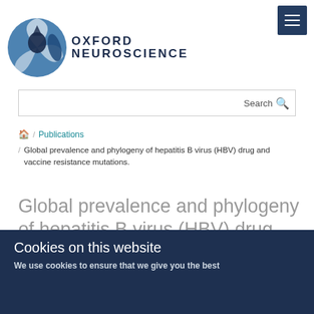[Figure (logo): Oxford Neuroscience logo with circular brain/neuron icon and text 'OXFORD NEUROSCIENCE']
Search
🏠 / Publications / Global prevalence and phylogeny of hepatitis B virus (HBV) drug and vaccine resistance mutations.
Global prevalence and phylogeny of hepatitis B virus (HBV) drug and vaccine resistance mutations.
Makaya I, Van Jvon TL, Barnes E, Ansari MA, Dybus QC
Cookies on this website
We use cookies to ensure that we give you the best